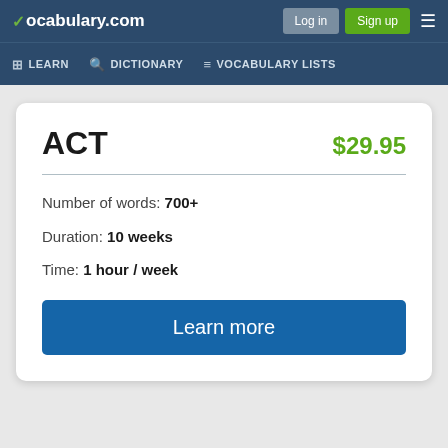vocabulary.com — Log in | Sign up | LEARN | DICTIONARY | VOCABULARY LISTS
ACT
$29.95
Number of words: 700+
Duration: 10 weeks
Time: 1 hour / week
Learn more